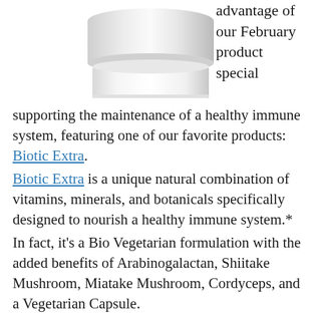[Figure (photo): White supplement/vitamin bottle, partially visible, cropped at top]
advantage of our February product special
supporting the maintenance of a healthy immune system, featuring one of our favorite products: Biotic Extra. Biotic Extra is a unique natural combination of vitamins, minerals, and botanicals specifically designed to nourish a healthy immune system.* In fact, it's a Bio Vegetarian formulation with the added benefits of Arabinogalactan, Shiitake Mushroom, Miatake Mushroom, Cordyceps, and a Vegetarian Capsule. Biotic Extra is 30% off on our Website using